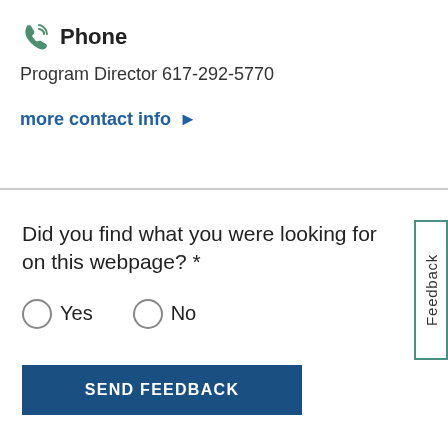Phone
Program Director 617-292-5770
more contact info
Did you find what you were looking for on this webpage? *
Yes
No
SEND FEEDBACK